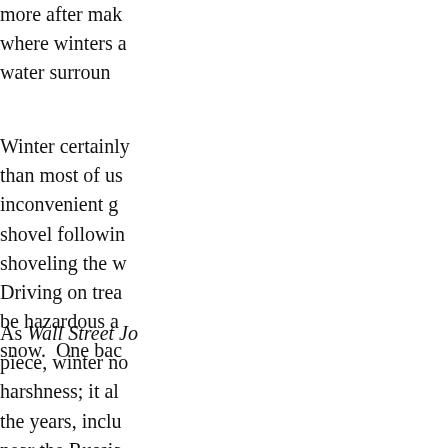more after making where winters a water surroun
Winter certainly than most of us inconvenient g shovel following shoveling the w Driving on trea be hazardous a snow. One bac
As Wall Street Jo piece, winter no harshness; it al the years, inclu near the Russia
ANOTHER GREA
my favorite sor installment, ano couple days af included Jimi He Hendrix substit